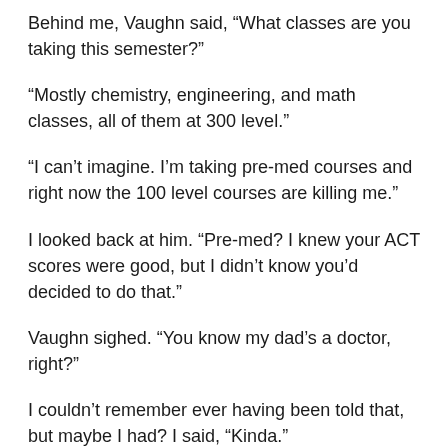Behind me, Vaughn said, “What classes are you taking this semester?”
“Mostly chemistry, engineering, and math classes, all of them at 300 level.”
“I can’t imagine. I’m taking pre-med courses and right now the 100 level courses are killing me.”
I looked back at him. “Pre-med? I knew your ACT scores were good, but I didn’t know you’d decided to do that.”
Vaughn sighed. “You know my dad’s a doctor, right?”
I couldn’t remember ever having been told that, but maybe I had? I said, “Kinda.”
“Well, when I got my ACT’s back, my dad said I could get into medical school if I managed to make my grades reflect my test